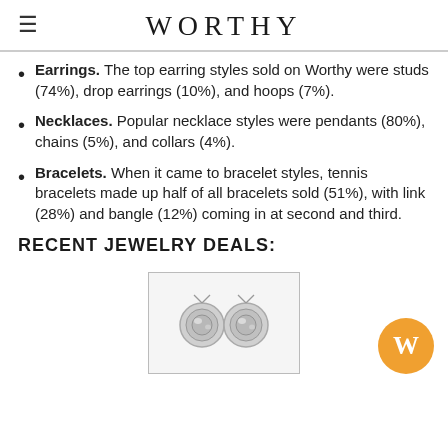WORTHY
Earrings. The top earring styles sold on Worthy were studs (74%), drop earrings (10%), and hoops (7%).
Necklaces. Popular necklace styles were pendants (80%), chains (5%), and collars (4%).
Bracelets. When it came to bracelet styles, tennis bracelets made up half of all bracelets sold (51%), with link (28%) and bangle (12%) coming in at second and third.
RECENT JEWELRY DEALS:
[Figure (photo): Two diamond stud earrings shown from above on a light background]